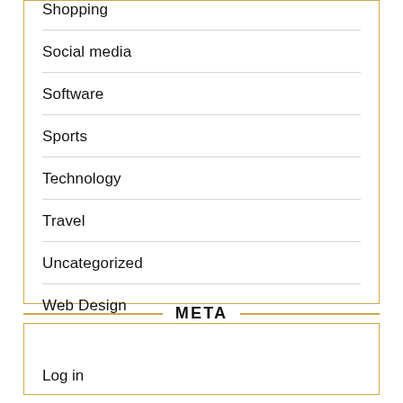Shopping
Social media
Software
Sports
Technology
Travel
Uncategorized
Web Design
META
Log in